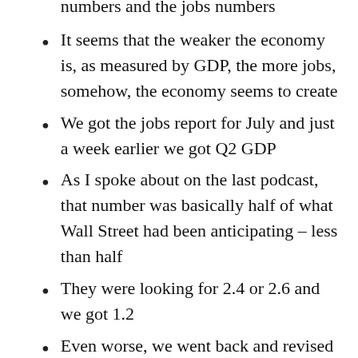numbers and the jobs numbers
It seems that the weaker the economy is, as measured by GDP, the more jobs, somehow, the economy seems to create
We got the jobs report for July and just a week earlier we got Q2 GDP
As I spoke about on the last podcast, that number was basically half of what Wall Street had been anticipating – less than half
They were looking for 2.4 or 2.6 and we got 1.2
Even worse, we went back and revised down the prior 2 quarters to below 1%
That very weak number caused